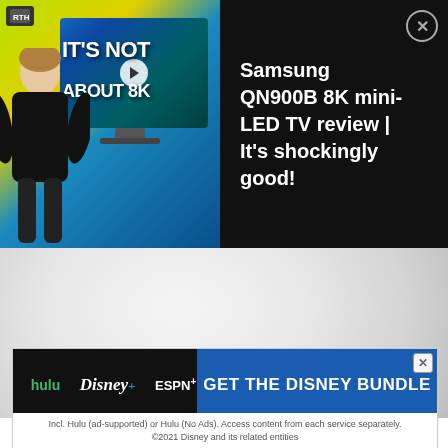[Figure (screenshot): Advertisement banner for Samsung QN900B 8K mini-LED TV review. Left side shows a person in black next to a Samsung TV with text 'IT'S NOT ABOUT 8K' overlaid. Right side shows the text 'Samsung QN900B 8K mini-LED TV review | It's shockingly good!' on black background with a close button.]
[Figure (photo): Large close-up photo of a white/light gray spherical Amazon Echo device occupying most of the middle section of the page.]
Report an ad
[Figure (screenshot): Disney Bundle advertisement banner showing Hulu, Disney+, and ESPN+ logos on black background on the left and 'GET THE DISNEY BUNDLE' text on blue background on the right. Fine print: 'Incl. Hulu (ad-supported) or Hulu (No Ads). Access content from each service separately. ©2021 Disney and its related entities']